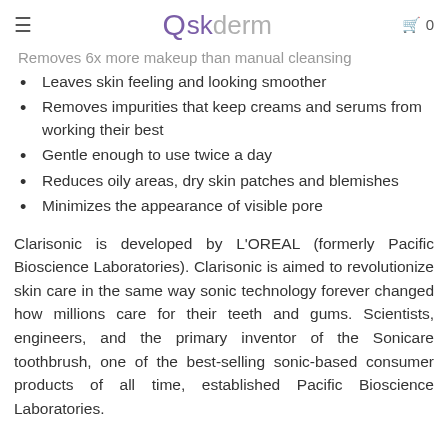Askderm
Removes 6x more makeup than manual cleansing
Leaves skin feeling and looking smoother
Removes impurities that keep creams and serums from working their best
Gentle enough to use twice a day
Reduces oily areas, dry skin patches and blemishes
Minimizes the appearance of visible pore
Clarisonic is developed by L'OREAL (formerly Pacific Bioscience Laboratories). Clarisonic is aimed to revolutionize skin care in the same way sonic technology forever changed how millions care for their teeth and gums. Scientists, engineers, and the primary inventor of the Sonicare toothbrush, one of the best-selling sonic-based consumer products of all time, established Pacific Bioscience Laboratories.